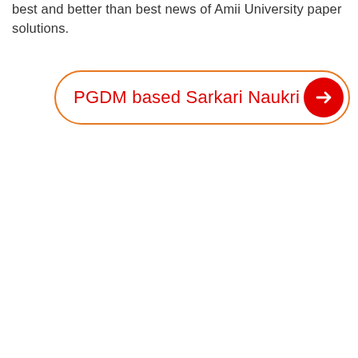best and better than best news of Amii University paper solutions.
[Figure (other): A button/call-to-action element with orange border, red text reading 'PGDM based Sarkari Naukri' and a red circle with right arrow icon.]